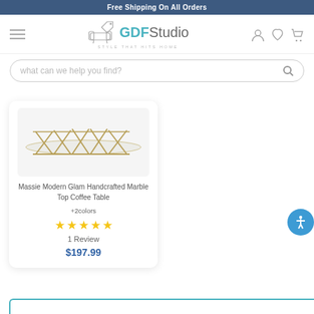Free Shipping On All Orders
[Figure (logo): GDFStudio logo with sofa icon and tagline STYLE THAT HITS HOME]
what can we help you find?
[Figure (photo): Massie Modern Glam Handcrafted Marble Top Coffee Table product image showing gold geometric wire frame base]
Massie Modern Glam Handcrafted Marble Top Coffee Table
+2colors
★★★★★ 1 Review
$197.99